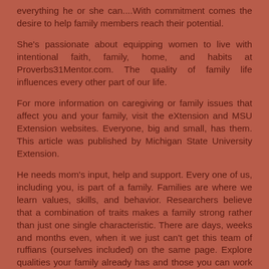everything he or she can....With commitment comes the desire to help family members reach their potential.
She's passionate about equipping women to live with intentional faith, family, home, and habits at Proverbs31Mentor.com. The quality of family life influences every other part of our life.
For more information on caregiving or family issues that affect you and your family, visit the eXtension and MSU Extension websites. Everyone, big and small, has them. This article was published by Michigan State University Extension.
He needs mom's input, help and support. Every one of us, including you, is part of a family. Families are where we learn values, skills, and behavior. Researchers believe that a combination of traits makes a family strong rather than just one single characteristic. There are days, weeks and months even, when it we just can't get this team of ruffians (ourselves included) on the same page. Explore qualities your family already has and those you can work on.